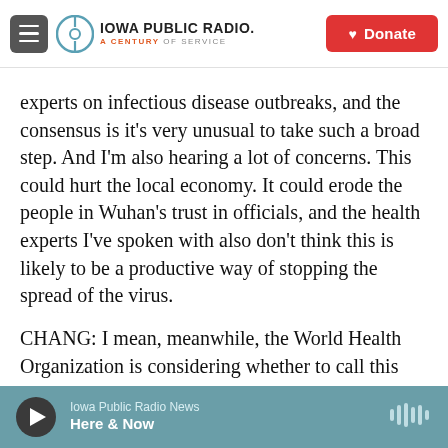[Figure (logo): Iowa Public Radio logo with hamburger menu and Donate button in header bar]
experts on infectious disease outbreaks, and the consensus is it's very unusual to take such a broad step. And I'm also hearing a lot of concerns. This could hurt the local economy. It could erode the people in Wuhan's trust in officials, and the health experts I've spoken with also don't think this is likely to be a productive way of stopping the spread of the virus.
CHANG: I mean, meanwhile, the World Health Organization is considering whether to call this outbreak an international global health emergency, right?
Iowa Public Radio News  Here & Now